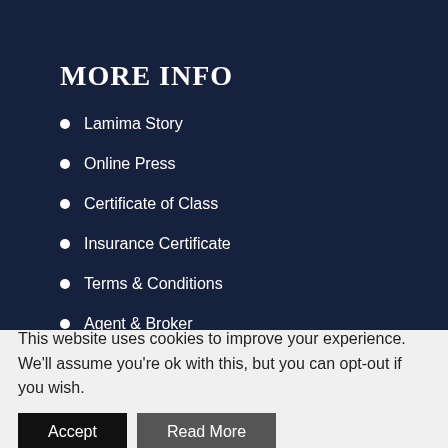MORE INFO
Lamima Story
Online Press
Certificate of Class
Insurance Certificate
Terms & Conditions
Agent & Broker
Privacy Policy
This website uses cookies to improve your experience. We'll assume you're ok with this, but you can opt-out if you wish.
Accept
Read More